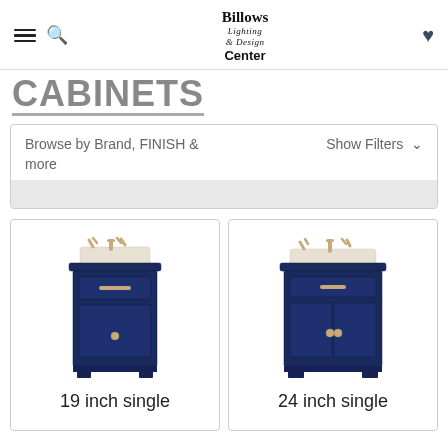Billows Lighting & Design Center
CABINETS (partial, cropped)
Browse by Brand, FINISH & more   Show Filters ∨
[Figure (photo): 19 inch single bathroom vanity in navy blue with sink and faucet]
19 inch single
[Figure (photo): 24 inch single bathroom vanity in navy blue with sink and faucet]
24 inch single